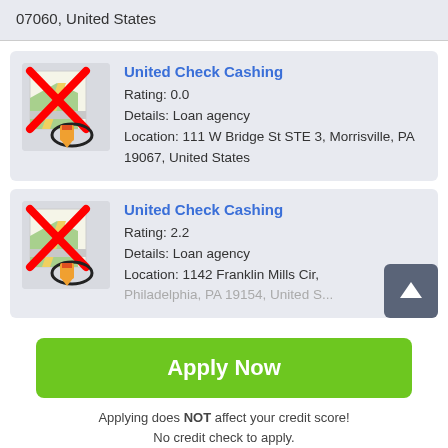07060, United States
United Check Cashing
Rating: 0.0
Details: Loan agency
Location: 111 W Bridge St STE 3, Morrisville, PA 19067, United States
United Check Cashing
Rating: 2.2
Details: Loan agency
Location: 1142 Franklin Mills Cir, Philadelphia, PA 19154, United States
Apply Now
Applying does NOT affect your credit score! No credit check to apply.